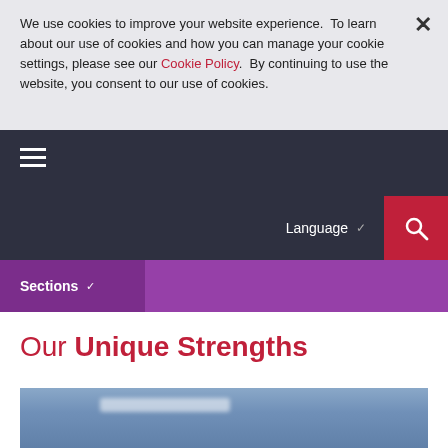We use cookies to improve your website experience. To learn about our use of cookies and how you can manage your cookie settings, please see our Cookie Policy. By continuing to use the website, you consent to our use of cookies.
Sections
Our Unique Strengths
[Figure (photo): Two medical professionals in a clinical/hospital setting; one wearing a white coat with a red stethoscope]